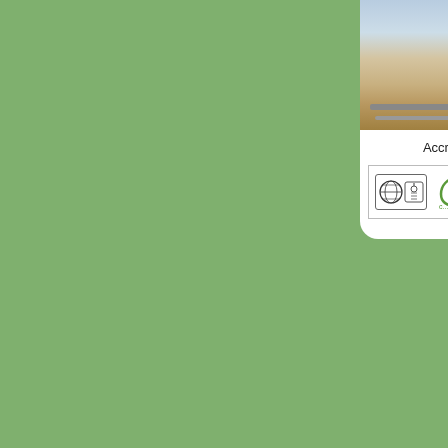[Figure (photo): Partial view of a road or rail infrastructure photo, cropped at right edge]
Accred...
[Figure (logo): ISO and green leaf certification logos inside a bordered box]
[Figure (logo): Bold purple 'B' letter logo, partially cropped at right edge]
In House fabric... Tube etc.
[Figure (photo): Partially visible photo at bottom right corner]